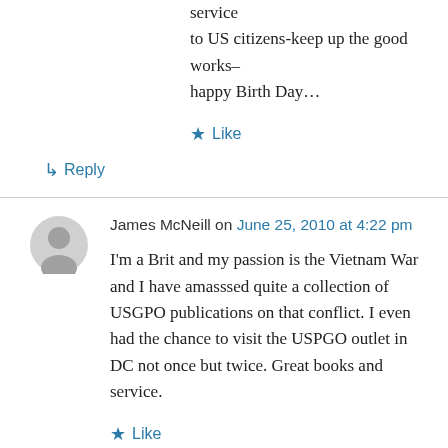service
to US citizens-keep up the good works–happy Birth Day…
★ Like
↳ Reply
James McNeill on June 25, 2010 at 4:22 pm
I'm a Brit and my passion is the Vietnam War and I have amasssed quite a collection of USGPO publications on that conflict. I even had the chance to visit the USPGO outlet in DC not once but twice. Great books and service.
★ Like
↳ Reply